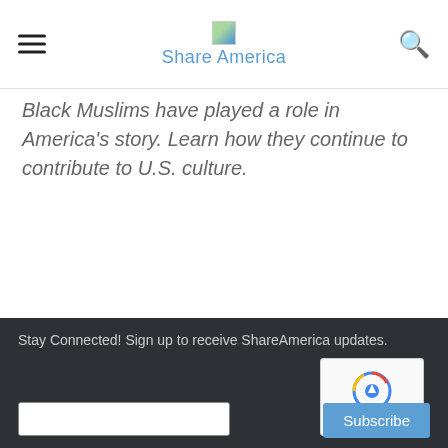Share America
Black Muslims have played a role in America's story. Learn how they continue to contribute to U.S. culture.
Makers of modest clothes find a niche in U.S. fashion
Stay Connected! Sign up to receive ShareAmerica updates.